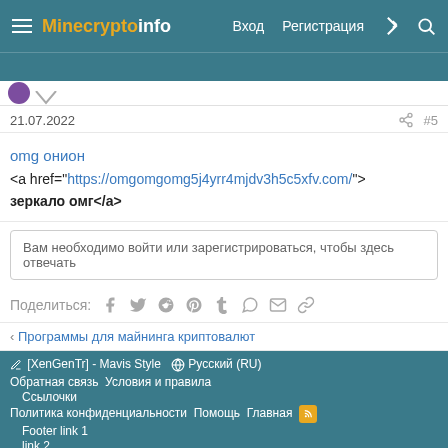Minecrypto.info — Вход  Регистрация
21.07.2022  #5
omg онион
<a href="https://omgomgomg5j4yrr4mjdv3h5c5xfv.com/">зеркало омг</a>
Вам необходимо войти или зарегистрироваться, чтобы здесь отвечать
Поделиться:
< Программы для майнинга криптовалют
[XenGenTr] - Mavis Style  Русский (RU)
Обратная связь  Условия и правила  Ссылочки
Политика конфиденциальности  Помощь  Главная
Footer link 1
link 2